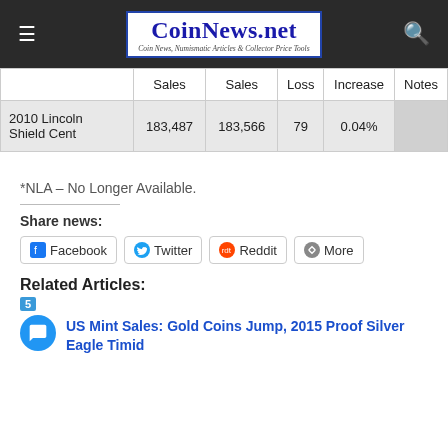CoinNews.net — Coin News, Numismatic Articles & Collector Price Tools
|  | Sales | Sales | Loss | Increase | Notes |
| --- | --- | --- | --- | --- | --- |
| 2010 Lincoln Shield Cent | 183,487 | 183,566 | 79 | 0.04% |  |
*NLA – No Longer Available.
Share news:
Facebook  Twitter  Reddit  More
Related Articles:
5
US Mint Sales: Gold Coins Jump, 2015 Proof Silver Eagle Timid